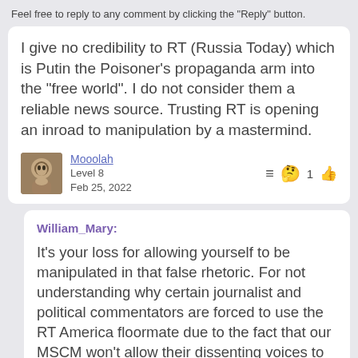Feel free to reply to any comment by clicking the "Reply" button.
I give no credibility to RT (Russia Today) which is Putin the Poisoner's propaganda arm into the "free world". I do not consider them a reliable news source. Trusting RT is opening an inroad to manipulation by a mastermind.
Mooolah
Level 8
Feb 25, 2022
William_Mary:
It's your loss for allowing yourself to be manipulated in that false rhetoric. For not understanding why certain journalist and political commentators are forced to use the RT America floormate due to the fact that our MSCM won't allow their dissenting voices to be seen or heard.
While I acknowledge that the RT site as a whole